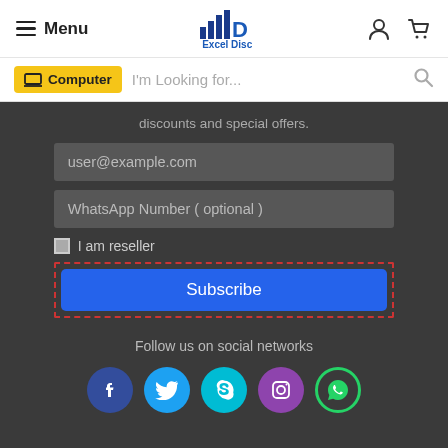Menu | Excel Disc | [user icon] [cart icon]
Computer   I'm Looking for...
discounts and special offers.
user@example.com
WhatsApp Number ( optional )
I am reseller
Subscribe
Follow us on social networks
[Figure (illustration): Social media icons: Facebook (blue), Twitter (light blue), Skype (cyan), Instagram (purple), WhatsApp (green outline)]